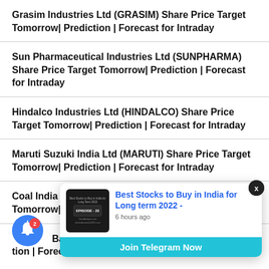Grasim Industries Ltd (GRASIM) Share Price Target Tomorrow| Prediction | Forecast for Intraday
Sun Pharmaceutical Industries Ltd (SUNPHARMA) Share Price Target Tomorrow| Prediction | Forecast for Intraday
Hindalco Industries Ltd (HINDALCO) Share Price Target Tomorrow| Prediction | Forecast for Intraday
Maruti Suzuki India Ltd (MARUTI) Share Price Target Tomorrow| Prediction | Forecast for Intraday
Coal India Ltd (COALINDIA) Share Price Target Tomorrow| Prediction | Forecast for Intraday
Bank Ltd ... tion | Forecast for Intraday
[Figure (screenshot): Popup notification card with thumbnail image showing 'Best Stocks to Buy in India for Long term 2022 - EPISODE 22' posted 6 hours ago, with 'Join Telegram Now' button in teal. A dismiss X button appears top-right. A blue notification bell icon with badge '2' appears bottom-left.]